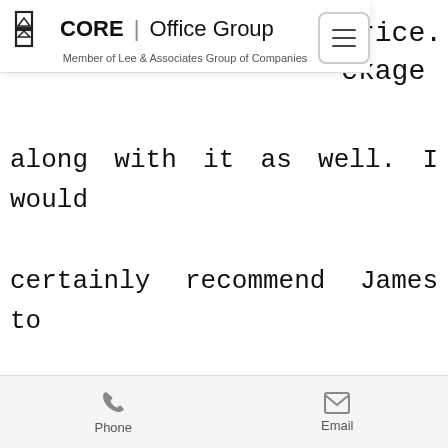[Figure (logo): CORE Office Group logo with 'Member of Lee & Associates Group of Companies' tagline and hamburger menu icon]
along with it as well. I would certainly recommend James to anyone looking for office space. He's super friendly but a good negotiator. He understands his clients wants and needs and works until the
Phone   Email